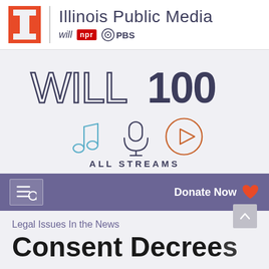[Figure (logo): Illinois Public Media header with University of Illinois block I logo, WILL, NPR, and PBS branding]
[Figure (logo): WILL100 large decorative logo text]
[Figure (logo): All Streams section with music note, microphone, and play button icons, labeled ALL STREAMS]
[Figure (screenshot): Navigation bar with hamburger/search icon and Donate Now button with heart icon]
Legal Issues In the News
Consent Decrees